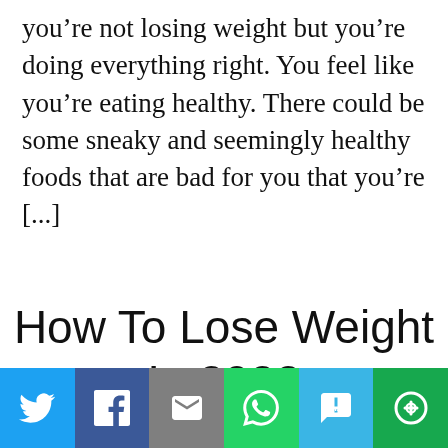you're not losing weight but you're doing everything right. You feel like you're eating healthy. There could be some sneaky and seemingly healthy foods that are bad for you that you're [...]
How To Lose Weight In 2022
[Figure (other): Social sharing bar with six buttons: Twitter (blue bird icon), Facebook (dark blue f icon), Email (grey envelope icon), WhatsApp (green phone icon), SMS (light blue SMS icon), More (green circular icon)]